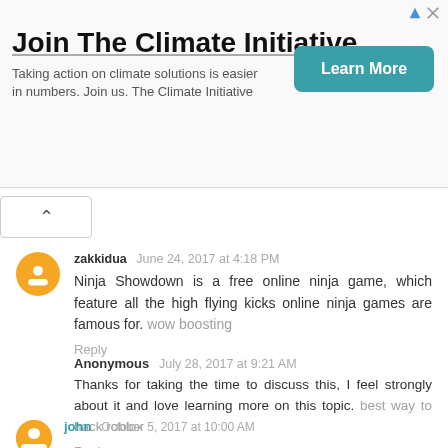[Figure (other): Advertisement banner: 'Join The Climate Initiative.' with subtitle and Learn More button]
zakkidua  June 24, 2017 at 4:18 PM
Ninja Showdown is a free online ninja game, which feature all the high flying kicks online ninja games are famous for. wow boosting
Reply
Anonymous  July 28, 2017 at 9:21 AM
Thanks for taking the time to discuss this, I feel strongly about it and love learning more on this topic.  best way to hack roblox
Reply
john  October 5, 2017 at 10:00 AM